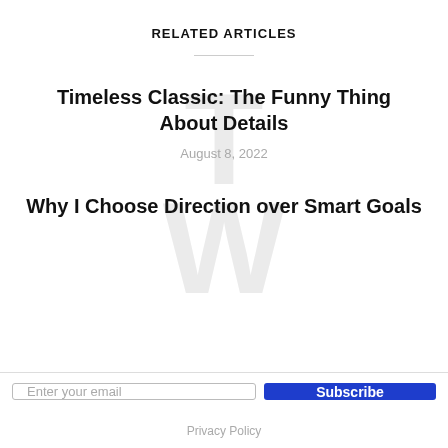RELATED ARTICLES
Timeless Classic: The Funny Thing About Details
August 8, 2022
Why I Choose Direction over Smart Goals
Enter your email
Subscribe
Privacy Policy